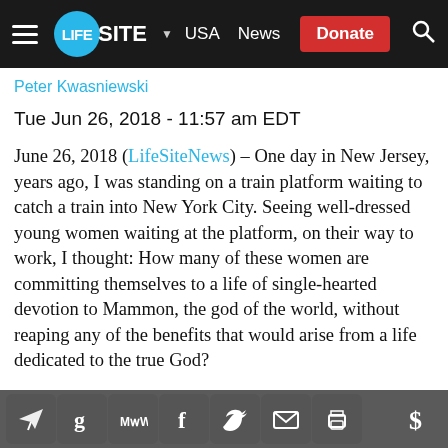LIFESITE USA News Donate
Peter Kwasniewski
Tue Jun 26, 2018 - 11:57 am EDT
June 26, 2018 (LifeSiteNews) – One day in New Jersey, years ago, I was standing on a train platform waiting to catch a train into New York City. Seeing well-dressed young women waiting at the platform, on their way to work, I thought: How many of these women are committing themselves to a life of single-hearted devotion to Mammon, the god of the world, without reaping any of the benefits that would arise from a life dedicated to the true God?
They are celibate, after a fashion, but they are not virgins; they make sacrifices day after day, but reap no salvation from them.
Share icons: Telegram, Gettr, MeWe, Facebook, Twitter, Email, Print, Donate